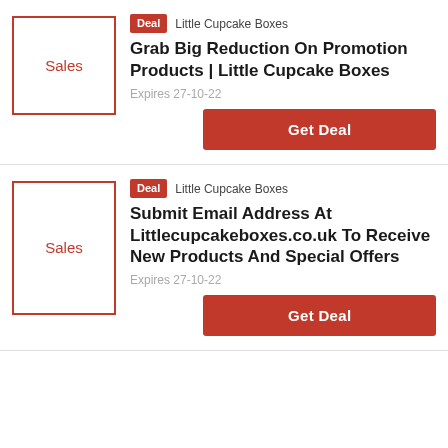[Figure (other): Sales thumbnail box with red border and red 'Sales' text label]
Deal  Little Cupcake Boxes
Grab Big Reduction On Promotion Products | Little Cupcake Boxes
Expires 27-10-22
Get Deal
[Figure (other): Sales thumbnail box with red border and red 'Sales' text label]
Deal  Little Cupcake Boxes
Submit Email Address At Littlecupcakeboxes.co.uk To Receive New Products And Special Offers
Expires 27-10-22
Get Deal